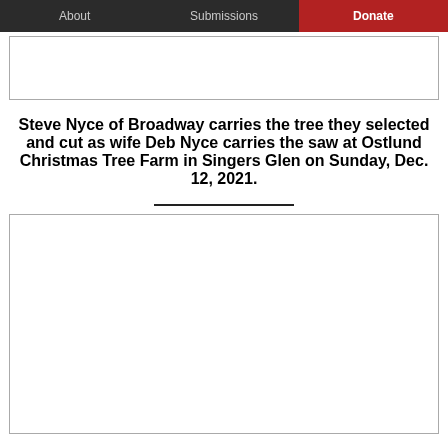About   Submissions   Donate
[Figure (photo): Top photo placeholder — partially visible image of Christmas tree farm scene]
Steve Nyce of Broadway carries the tree they selected and cut as wife Deb Nyce carries the saw at Ostlund Christmas Tree Farm in Singers Glen on Sunday, Dec. 12, 2021.
[Figure (photo): Bottom photo placeholder — partially visible image of Christmas tree farm scene]